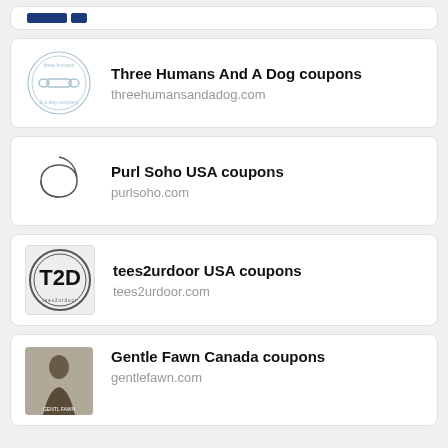[Figure (screenshot): Partial card at top of page, showing a cropped logo]
Three Humans And A Dog coupons
threehumansandadog.com
Purl Soho USA coupons
purlsoho.com
tees2urdoor USA coupons
tees2urdoor.com
Gentle Fawn Canada coupons
gentlefawn.com